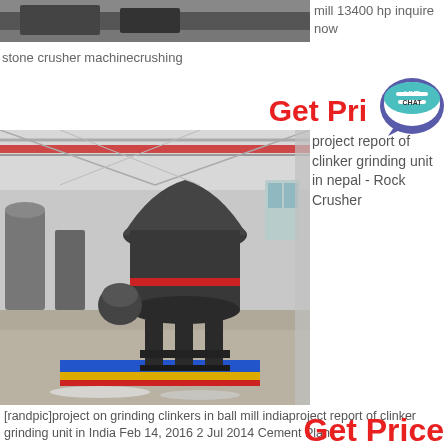[Figure (photo): Top portion of industrial machinery or mill equipment photo (partially visible)]
mill 13400 hp inquire now
stone crusher machinecrushing
Get Pri
[Figure (illustration): Live Chat speech bubble icon in teal/purple]
[Figure (photo): Industrial facility interior showing large grinding mill equipment on a factory floor with red overhead crane beams]
project report of clinker grinding unit in nepal - Rock Crusher
[randpic]project on grinding clinkers in ball mill indiaproject report of clinker grinding unit in India Feb 14, 2016 2 Jul 2014 Cement Plant
Get Price